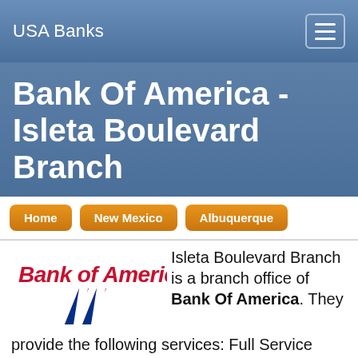USA Banks
Bank Of America - Isleta Boulevard Branch
Home
New Mexico
Albuquerque
Isleta Boulevard Branch is a branch office of Bank Of America. They provide the following services: Full Service Office Location and are located at 3323 Isleta Boulevard, S.W. in Albuquerque New Mexico. Mobile and traditional directions to this location can be found below along with ratings, lobby hours, their phone number, online banking website and
[Figure (logo): Bank of America logo with red italic wordmark and red, white and blue striped flag icon]